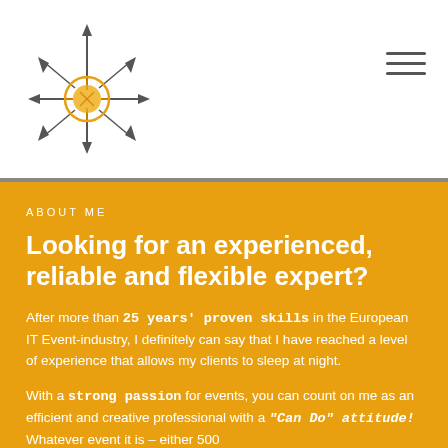[Figure (logo): Circular logo with arrows pointing outward (north, south, east, west) and a sun/gear icon in the center, sketch style]
[Figure (other): Hamburger menu icon (three horizontal lines) in top right corner]
ABOUT ME
Looking for an experienced, reliable and flexible expert?
After more than 25 years' proven skills in the European IT Event-industry, I definitely can say that I have reached a level of experience that allows my clients to sleep at night.
With a strong passion for events, you can count on me as an efficient and creative professional with a "Can Do" attitude! Whatever event it is – either 500